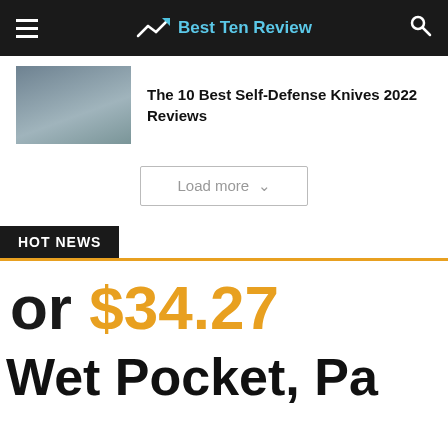Best Ten Review
[Figure (photo): Thumbnail image showing a dark surface, partially visible at top left of card]
The 10 Best Self-Defense Knives 2022 Reviews
Load more
HOT NEWS
or $34.27
Wet Pocket, Pa…